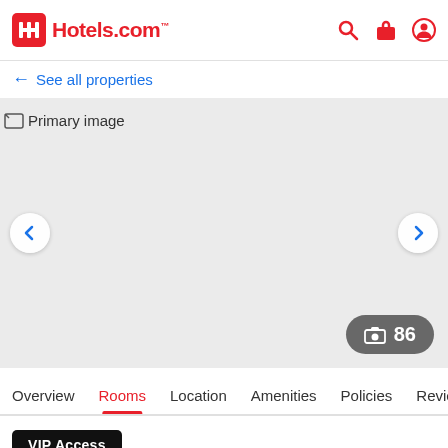Hotels.com
← See all properties
[Figure (photo): Primary hotel image placeholder (broken image) with left/right carousel navigation buttons and a photo count badge showing 86 photos]
Overview | Rooms | Location | Amenities | Policies | Reviews
VIP Access